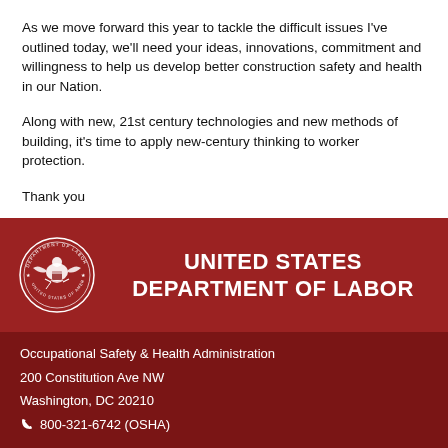As we move forward this year to tackle the difficult issues I've outlined today, we'll need your ideas, innovations, commitment and willingness to help us develop better construction safety and health in our Nation.
Along with new, 21st century technologies and new methods of building, it's time to apply new-century thinking to worker protection.
Thank you
UNITED STATES DEPARTMENT OF LABOR
Occupational Safety & Health Administration
200 Constitution Ave NW
Washington, DC 20210
800-321-6742 (OSHA)